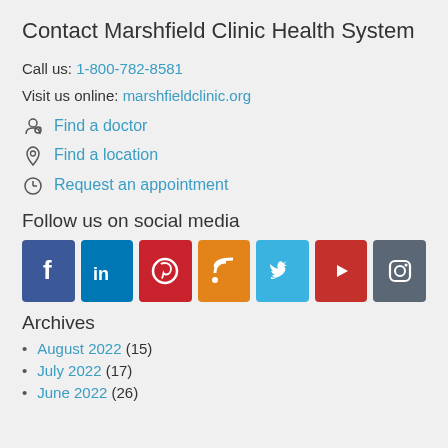Contact Marshfield Clinic Health System
Call us: 1-800-782-8581
Visit us online: marshfieldclinic.org
Find a doctor
Find a location
Request an appointment
Follow us on social media
[Figure (infographic): Row of 7 social media icons: Facebook (dark blue), LinkedIn (dark blue), Pinterest (red), RSS (orange), Twitter (light blue), YouTube (red), Instagram (dark gray)]
Archives
August 2022 (15)
July 2022 (17)
June 2022 (26)